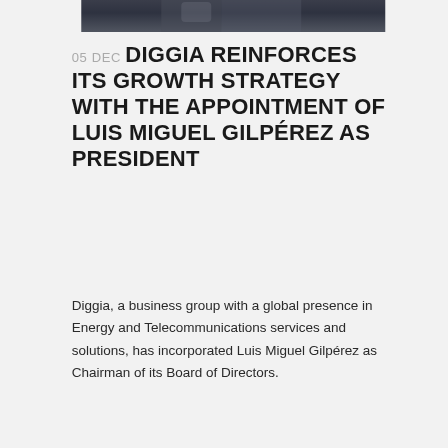[Figure (photo): Top portion of a photograph of a person in formal attire, partially cropped at the top of the page.]
05 DEC DIGGIA REINFORCES ITS GROWTH STRATEGY WITH THE APPOINTMENT OF LUIS MIGUEL GILPÉREZ AS PRESIDENT
Diggia, a business group with a global presence in Energy and Telecommunications services and solutions, has incorporated Luis Miguel Gilpérez as Chairman of its Board of Directors.